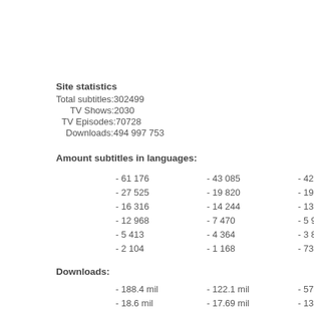Site statistics
Total subtitles:302499
TV Shows:2030
TV Episodes:70728
Downloads:494 997 753
Amount subtitles in languages:
- 61 176   - 43 085   - 42 224
- 27 525   - 19 820   - 19 209
- 16 316   - 14 244   - 13 463
- 12 968   - 7 470   - 5 909
- 5 413   - 4 364   - 3 835
- 2 104   - 1 168   - 736
Downloads:
- 188.4 mil   - 122.1 mil   - 57.77 mil
- 18.6 mil   - 17.69 mil   - 13.37 mil
- 13.17 mil   - 12.84 mil   - 8.68 mil
- 7.69 mil   - 6.99 mil   - 4.93 mil
- 4.84 mil   - 4.57 mil   - 4.44 mil